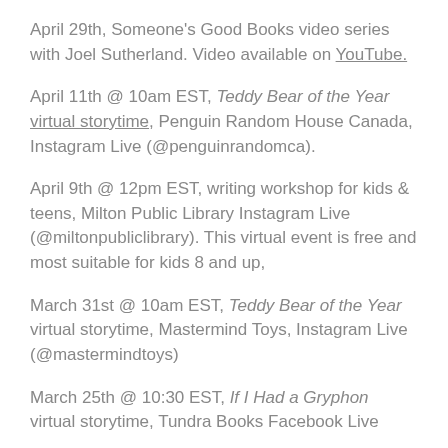April 29th, Someone's Good Books video series with Joel Sutherland. Video available on YouTube.
April 11th @ 10am EST, Teddy Bear of the Year virtual storytime, Penguin Random House Canada, Instagram Live (@penguinrandomca).
April 9th @ 12pm EST, writing workshop for kids & teens, Milton Public Library Instagram Live (@miltonpubliclibrary). This virtual event is free and most suitable for kids 8 and up,
March 31st @ 10am EST, Teddy Bear of the Year virtual storytime, Mastermind Toys, Instagram Live (@mastermindtoys)
March 25th @ 10:30 EST, If I Had a Gryphon virtual storytime, Tundra Books Facebook Live